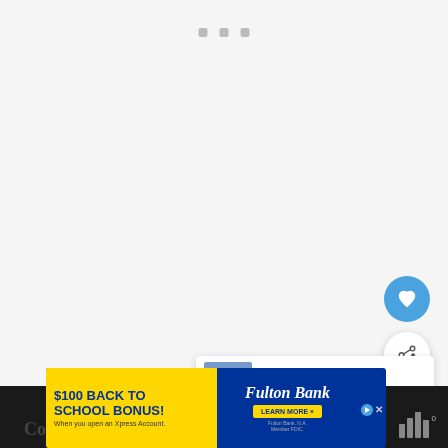[Figure (screenshot): Mostly blank white/light gray web page content area with three small gray square dots near the top center, resembling a loading or minimized state of a webpage.]
[Figure (other): Floating blue circular heart/favorite button on the right side of the page.]
[Figure (other): Floating white circular share button (share icon with plus) on the right side of the page.]
[Figure (other): What's Next card showing a thumbnail image and text: 'WHAT'S NEXT → 15 Things to Know Befor...']
Co...                                                    d MD
[Figure (other): Advertisement banner for Fulton Bank: '$100 BACK TO SCHOOL BONUS! When you open an Xpress Account.' with Fulton Bank logo and 'LEARN MORE »' button. Also shows AdX close/play icons.]